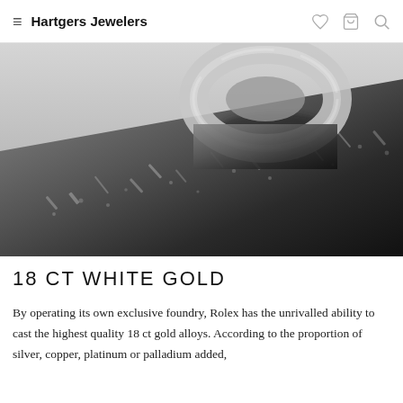Hartgers Jewelers
[Figure (photo): Close-up black and white photograph of a polished metal ring resting on a rough, dark textured metallic surface, showing detailed surface texture and reflections.]
18 CT WHITE GOLD
By operating its own exclusive foundry, Rolex has the unrivalled ability to cast the highest quality 18 ct gold alloys. According to the proportion of silver, copper, platinum or palladium added,